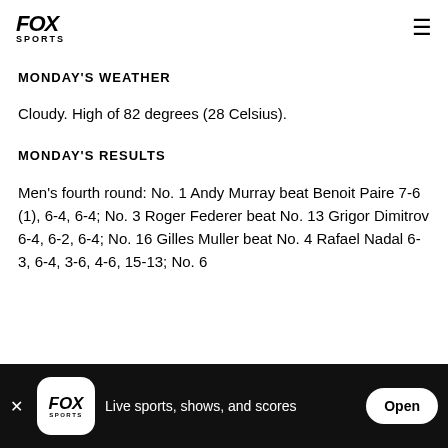FOX SPORTS
MONDAY'S WEATHER
Cloudy. High of 82 degrees (28 Celsius).
MONDAY'S RESULTS
Men's fourth round: No. 1 Andy Murray beat Benoit Paire 7-6 (1), 6-4, 6-4; No. 3 Roger Federer beat No. 13 Grigor Dimitrov 6-4, 6-2, 6-4; No. 16 Gilles Muller beat No. 4 Rafael Nadal 6-3, 6-4, 3-6, 4-6, 15-13; No. 6
FOX SPORTS — Live sports, shows, and scores — Open